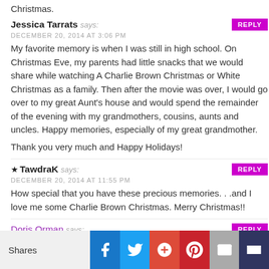Christmas.
Jessica Tarrats says:
DECEMBER 20, 2014 AT 3:06 PM
My favorite memory is when I was still in high school. On Christmas Eve, my parents had little snacks that we would share while watching A Charlie Brown Christmas or White Christmas as a family. Then after the movie was over, I would go over to my great Aunt's house and would spend the remainder of the evening with my grandmothers, cousins, aunts and uncles. Happy memories, especially of my great grandmother.

Thank you very much and Happy Holidays!
TawdraK says:
DECEMBER 20, 2014 AT 11:55 PM
How special that you have these precious memories. . .and I love me some Charlie Brown Christmas. Merry Christmas!!
Doris Orman says:
DECEMBER 20, 2014 AT 3:38 PM